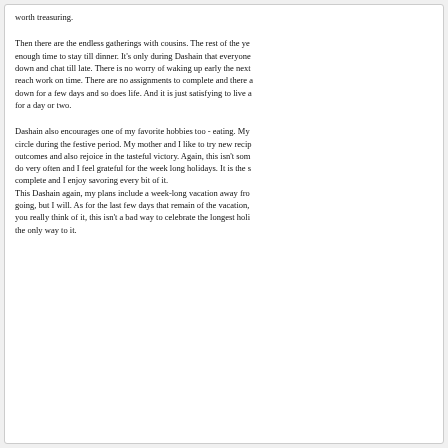worth treasuring.
Then there are the endless gatherings with cousins. The rest of the ye enough time to stay till dinner. It’s only during Dashain that everyone down and chat till late. There is no worry of waking up early the next reach work on time. There are no assignments to complete and there a down for a few days and so does life. And it is just satisfying to live a for a day or two.
Dashain also encourages one of my favorite hobbies too - eating. My circle during the festive period. My mother and I like to try new recip outcomes and also rejoice in the tasteful victory. Again, this isn’t som do very often and I feel grateful for the week long holidays. It is the s complete and I enjoy savoring every bit of it. This Dashain again, my plans include a week-long vacation away fro going, but I will. As for the last few days that remain of the vacation, you really think of it, this isn’t a bad way to celebrate the longest holi the only way to it.